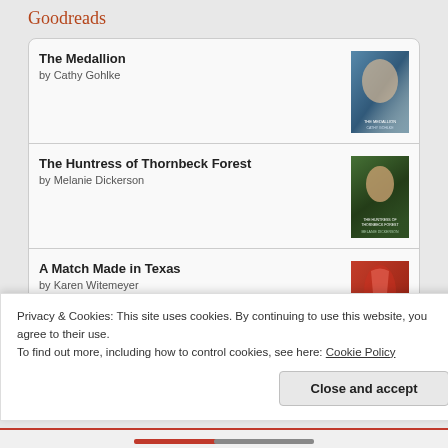Goodreads
The Medallion by Cathy Gohlke
The Huntress of Thornbeck Forest by Melanie Dickerson
A Match Made in Texas by Karen Witemeyer
Among the Fair Magnolias: Four Southern Love Stories by Tamera Alexander
Privacy & Cookies: This site uses cookies. By continuing to use this website, you agree to their use.
To find out more, including how to control cookies, see here: Cookie Policy
Close and accept